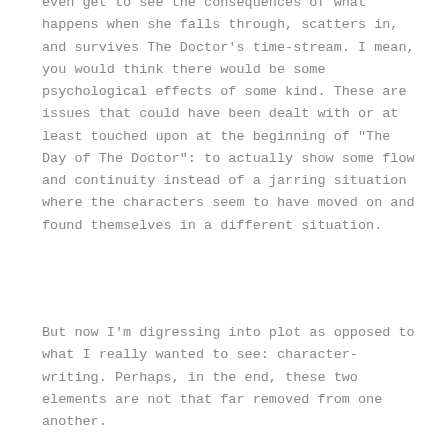even get to see the consequences of what happens when she falls through, scatters in, and survives The Doctor's time-stream. I mean, you would think there would be some psychological effects of some kind. These are issues that could have been dealt with or at least touched upon at the beginning of "The Day of The Doctor": to actually show some flow and continuity instead of a jarring situation where the characters seem to have moved on and found themselves in a different situation.
But now I'm digressing into plot as opposed to what I really wanted to see: character-writing. Perhaps, in the end, these two elements are not that far removed from one another.